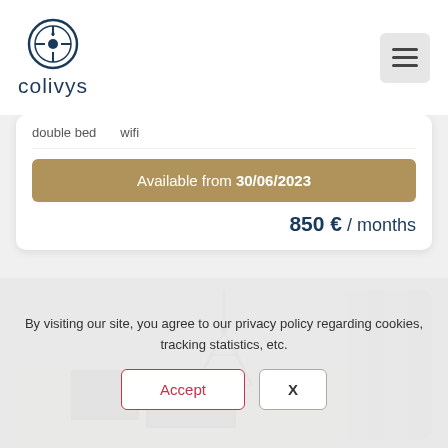[Figure (logo): Colivys logo — circular compass icon above the text 'colivys' in dark blue]
double bed   wifi
Available from 30/06/2023
850 € / months
[Figure (photo): Interior room photo showing a geometric wire pendant lamp hanging from a white ceiling, framed pictures on a white wall, and a gallery wall of photo frames on the right side]
By visiting our site, you agree to our privacy policy regarding cookies, tracking statistics, etc.
Accept
X